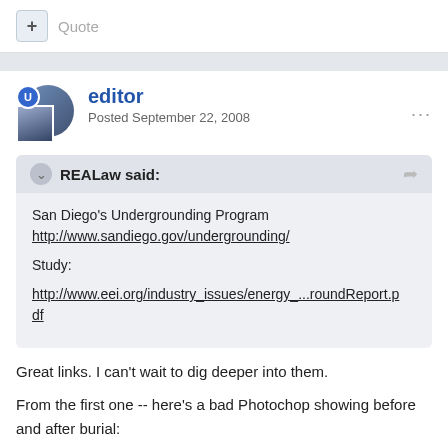+ Quote
editor
Posted September 22, 2008
REALaw said:
San Diego's Undergrounding Program
http://www.sandiego.gov/undergrounding/
Study:
http://www.eei.org/industry_issues/energy_...roundReport.pdf
Great links. I can't wait to dig deeper into them.
From the first one -- here's a bad Photochop showing before and after burial: